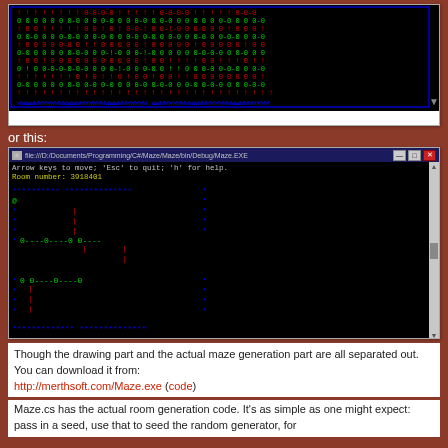[Figure (screenshot): Terminal/console window showing a maze rendered in ASCII with colored 0s, 1s, and dashes on a black background]
or this:
[Figure (screenshot): Windows console window titled 'file:///D:/Documents/Programming/C#/Maze/Maze/bin/Debug/Maze.EXE' showing a maze with blue, green, and red ASCII characters on black background. Text reads: Arrow keys to move; 'Esc' to quit; 'h' for help. Room number: 3918401]
Though the drawing part and the actual maze generation part are all separated out. You can download it from: http://merthsoft.com/Maze.exe (code)
Maze.cs has the actual room generation code. It's as simple as one might expect: pass in a seed, use that to seed the random generator, for